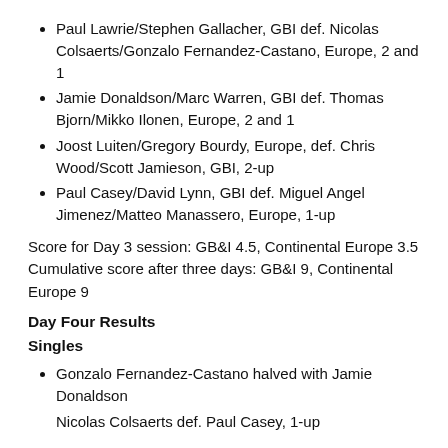Paul Lawrie/Stephen Gallacher, GBI def. Nicolas Colsaerts/Gonzalo Fernandez-Castano, Europe, 2 and 1
Jamie Donaldson/Marc Warren, GBI def. Thomas Bjorn/Mikko Ilonen, Europe, 2 and 1
Joost Luiten/Gregory Bourdy, Europe, def. Chris Wood/Scott Jamieson, GBI, 2-up
Paul Casey/David Lynn, GBI def. Miguel Angel Jimenez/Matteo Manassero, Europe, 1-up
Score for Day 3 session: GB&I 4.5, Continental Europe 3.5
Cumulative score after three days: GB&I 9, Continental Europe 9
Day Four Results
Singles
Gonzalo Fernandez-Castano halved with Jamie Donaldson
Nicolas Colsaerts def. Paul Casey, 1-up